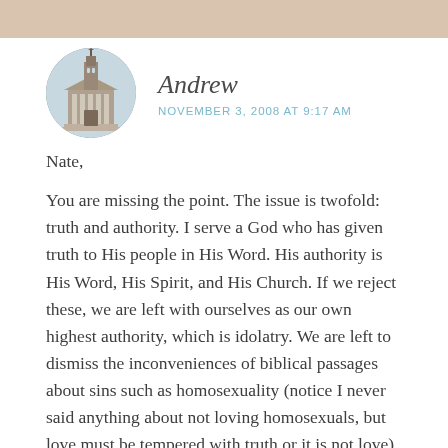Andrew
NOVEMBER 3, 2008 AT 9:17 AM
Nate,
You are missing the point. The issue is twofold: truth and authority. I serve a God who has given truth to His people in His Word. His authority is His Word, His Spirit, and His Church. If we reject these, we are left with ourselves as our own highest authority, which is idolatry. We are left to dismiss the inconveniences of biblical passages about sins such as homosexuality (notice I never said anything about not loving homosexuals, but love must be tempered with truth or it is not love) and having to take the Bible literally (and take God at His Word). I point out these perversions of Scripture not to "lay the smack